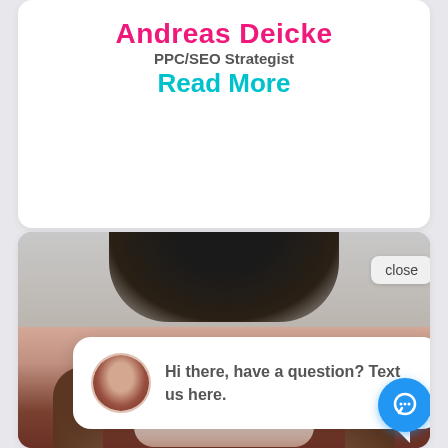Andreas Deicke
PPC/SEO Strategist
Read More
[Figure (photo): Screenshot of a website showing a profile card for Andreas Deicke (PPC/SEO Strategist) and below it a chat widget overlay on a photo of a woman, with a chat bubble saying 'Hi there, have a question? Text us here.' and a close button, plus a blue chat icon button.]
close
Hi there, have a question? Text us here.